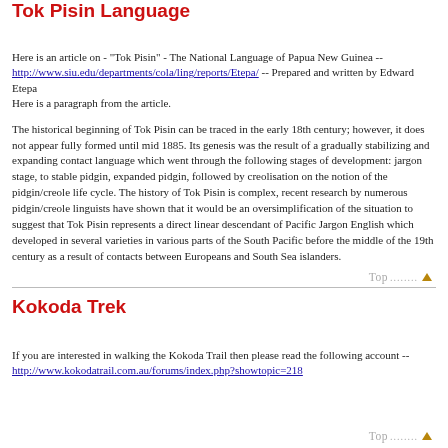Tok Pisin Language
Here is an article on - "Tok Pisin" - The National Language of Papua New Guinea --
http://www.siu.edu/departments/cola/ling/reports/Etepa/ -- Prepared and written by Edward Etepa
Here is a paragraph from the article.
The historical beginning of Tok Pisin can be traced in the early 18th century; however, it does not appear fully formed until mid 1885. Its genesis was the result of a gradually stabilizing and expanding contact language which went through the following stages of development: jargon stage, to stable pidgin, expanded pidgin, followed by creolisation on the notion of the pidgin/creole life cycle. The history of Tok Pisin is complex, recent research by numerous pidgin/creole linguists have shown that it would be an oversimplification of the situation to suggest that Tok Pisin represents a direct linear descendant of Pacific Jargon English which developed in several varieties in various parts of the South Pacific before the middle of the 19th century as a result of contacts between Europeans and South Sea islanders.
Kokoda Trek
If you are interested in walking the Kokoda Trail then please read the following account -- http://www.kokodatrail.com.au/forums/index.php?showtopic=218